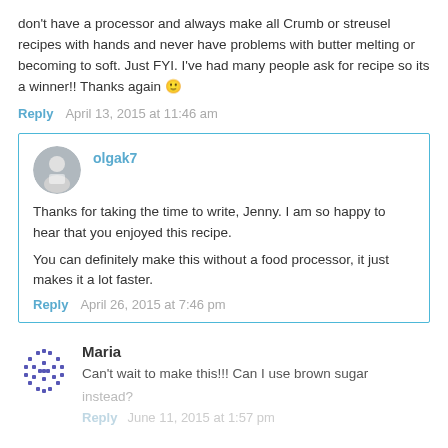don't have a processor and always make all Crumb or streusel recipes with hands and never have problems with butter melting or becoming to soft. Just FYI. I've had many people ask for recipe so its a winner!! Thanks again 🙂
Reply   April 13, 2015 at 11:46 am
olgak7
Thanks for taking the time to write, Jenny. I am so happy to hear that you enjoyed this recipe.
You can definitely make this without a food processor, it just makes it a lot faster.
Reply   April 26, 2015 at 7:46 pm
Maria
Can't wait to make this!!! Can I use brown sugar instead?
Reply   June 11, 2015 at 1:57 pm